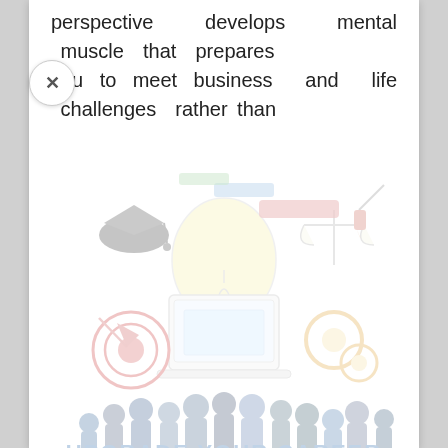perspective develops mental muscle that prepares you to meet business and life challenges rather than
[Figure (illustration): Faded colorful illustration showing education and career icons: graduation cap, light bulb, laptop, gears, target/bullseye, scales of justice, paintbrush, pencil, and a silhouette crowd of people at the bottom. Text 'UPGRADE YOUR CAREER' partially visible at bottom.]